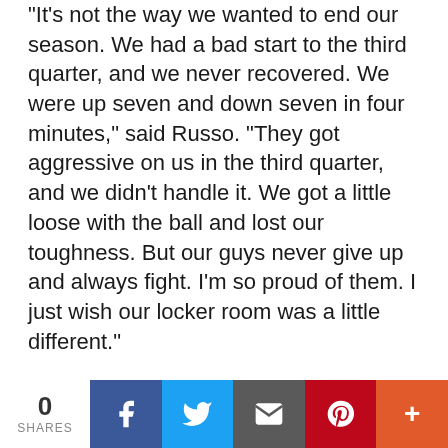“It’s not the way we wanted to end our season. We had a bad start to the third quarter, and we never recovered. We were up seven and down seven in four minutes,” said Russo. “They got aggressive on us in the third quarter, and we didn’t handle it. We got a little loose with the ball and lost our toughness. But our guys never give up and always fight. I’m so proud of them. I just wish our locker room was a little different.”
Team captain Pedro Rodriguez noted, “They played good defense. We didn’t execute as well, and we committed a lot of turnovers. We couldn’t make our plays off the screen and roll.”
Russo said, “I feel bad for our seniors and the finality of today. It’s always difficult.” He added
0 SHARES | Facebook | Twitter | Email | Pinterest | More